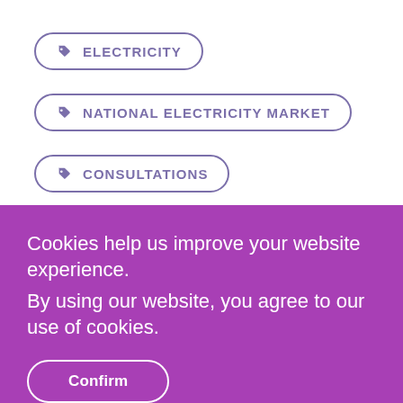ELECTRICITY
NATIONAL ELECTRICITY MARKET
CONSULTATIONS
Cookies help us improve your website experience.
By using our website, you agree to our use of cookies.
Confirm